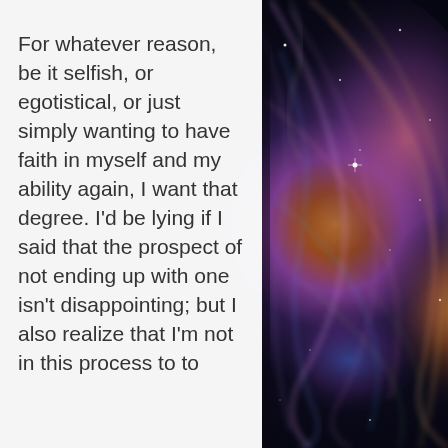[Figure (photo): Hubble space telescope image of a colorful nebula with swirling filaments of gas in purple, blue, yellow, orange, and red against a dark starfield background, occupying the right half of the page.]
For whatever reason, be it selfish, or egotistical, or just simply wanting to have faith in myself and my ability again, I want that degree. I'd be lying if I said that the prospect of not ending up with one isn't disappointing; but I also realize that I'm not in this process to to